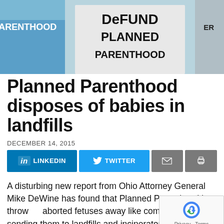[Figure (photo): Protesters holding signs reading 'PARENTHOOD' and 'DEFUND PLANNED PARENTHOOD' at a demonstration]
Planned Parenthood disposes of babies in landfills
DECEMBER 14, 2015
A disturbing new report from Ohio Attorney General Mike DeWine has found that Planned Parenthood is throwing aborted fetuses away like common trash, sending them to landfills and incinerators like...